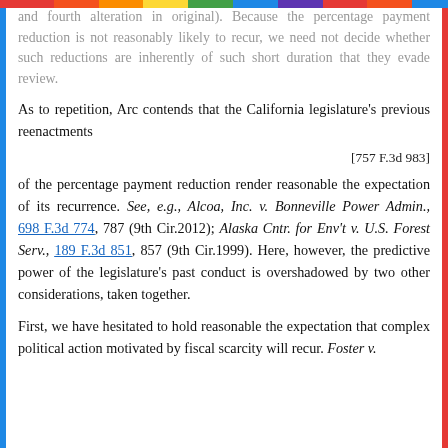and fourth alteration in original). Because the percentage payment reduction is not reasonably likely to recur, we need not decide whether such reductions are inherently of such short duration that they evade review.
As to repetition, Arc contends that the California legislature's previous reenactments
[757 F.3d 983]
of the percentage payment reduction render reasonable the expectation of its recurrence. See, e.g., Alcoa, Inc. v. Bonneville Power Admin., 698 F.3d 774, 787 (9th Cir.2012); Alaska Cntr. for Env't v. U.S. Forest Serv., 189 F.3d 851, 857 (9th Cir.1999). Here, however, the predictive power of the legislature's past conduct is overshadowed by two other considerations, taken together.
First, we have hesitated to hold reasonable the expectation that complex political action motivated by fiscal scarcity will recur. Foster v.